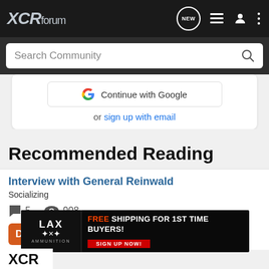XCRforum
Search Community
Continue with Google
or sign up with email
Recommended Reading
Interview with General Reinwald
Socializing
5 comments · 908 views · dont_tread_on_me · updated May 30, 2009
[Figure (screenshot): LAX Ammunition advertisement banner: FREE SHIPPING FOR 1st TIME BUYERS! SIGN UP NOW!]